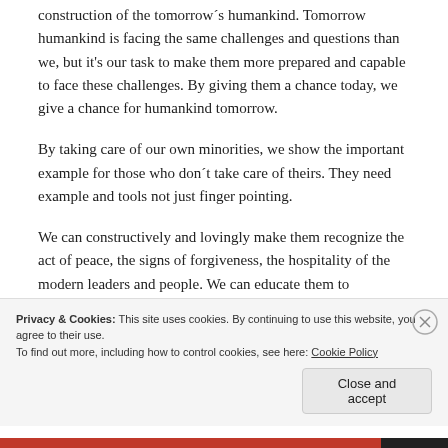construction of the tomorrow´s humankind. Tomorrow humankind is facing the same challenges and questions than we, but it's our task to make them more prepared and capable to face these challenges. By giving them a chance today, we give a chance for humankind tomorrow.
By taking care of our own minorities, we show the important example for those who don´t take care of theirs. They need example and tools not just finger pointing.
We can constructively and lovingly make them recognize the act of peace, the signs of forgiveness, the hospitality of the modern leaders and people. We can educate them to
Privacy & Cookies: This site uses cookies. By continuing to use this website, you agree to their use.
To find out more, including how to control cookies, see here: Cookie Policy
Close and accept